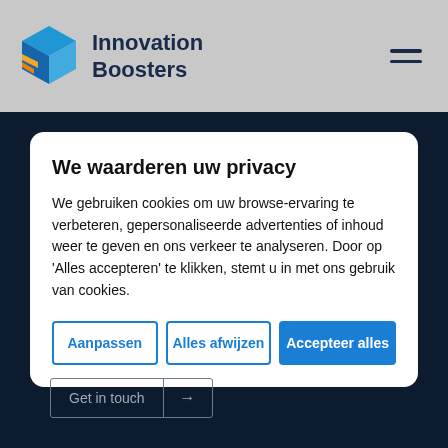Innovation Boosters
We waarderen uw privacy
We gebruiken cookies om uw browse-ervaring te verbeteren, gepersonaliseerde advertenties of inhoud weer te geven en ons verkeer te analyseren. Door op 'Alles accepteren' te klikken, stemt u in met ons gebruik van cookies.
Aanpassen | Alles afwijzen | Accepteer alles
Get in touch →